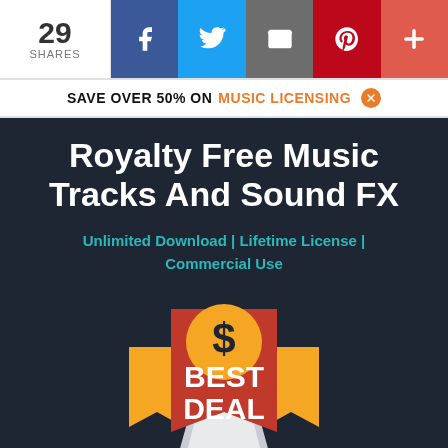29 SHARES | Facebook | Twitter | Email | Pinterest | Plus
SAVE OVER 50% ON MUSIC LICENSING
Royalty Free Music Tracks And Sound FX
Unlimited Download | Lifetime License | Commercial Use
[Figure (illustration): Best Deal badge: red ribbon banner with gold dollar sign circle on top, gold star-burst ribbon on sides, white text 'BEST DEAL', and a silver/white award pedestal below.]